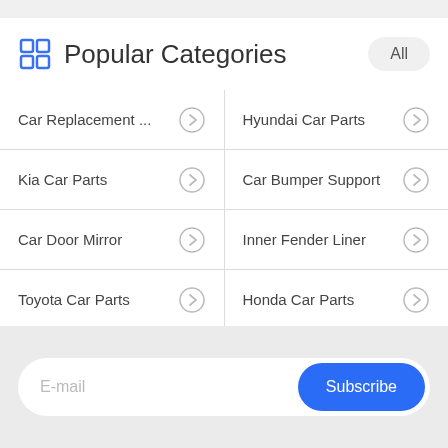Popular Categories
Car Replacement ...
Hyundai Car Parts
Kia Car Parts
Car Bumper Support
Car Door Mirror
Inner Fender Liner
Toyota Car Parts
Honda Car Parts
E-mail
Subscribe